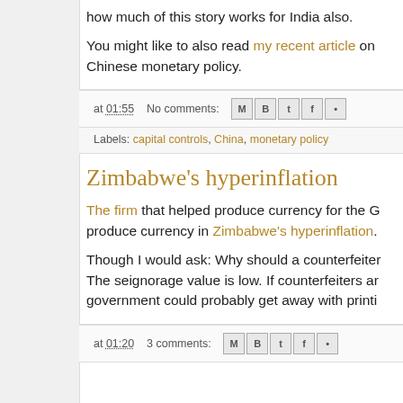how much of this story works for India also.
You might like to also read my recent article on Chinese monetary policy.
at 01:55   No comments:
Labels: capital controls, China, monetary policy
Zimbabwe's hyperinflation
The firm that helped produce currency for the G produce currency in Zimbabwe's hyperinflation.
Though I would ask: Why should a counterfeiter The seignorage value is low. If counterfeiters ar government could probably get away with printi
at 01:20   3 comments: